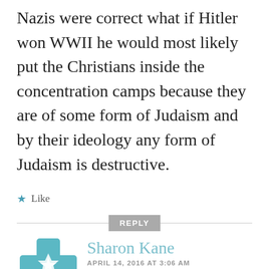Nazis were correct what if Hitler won WWII he would most likely put the Christians inside the concentration camps because they are of some form of Judaism and by their ideology any form of Judaism is destructive.
★ Like
REPLY
[Figure (logo): Teal decorative avatar icon with a floral/geometric cross pattern]
Sharon Kane
APRIL 14, 2016 AT 3:06 AM
The story of the Plaszow camp was truly heartbreaking. It's true